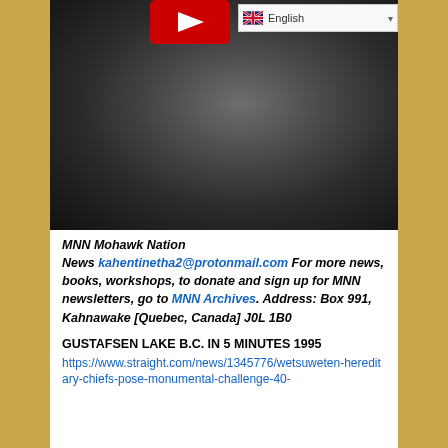[Figure (screenshot): YouTube video thumbnail showing a grayscale close-up photo of a person wearing sunglasses, with a YouTube play button overlay in the top-center and an English language selector in the top-right corner.]
MNN Mohawk Nation News kahentinetha2@protonmail.com  For more news, books, workshops, to donate and sign up for MNN newsletters, go to MNN Archives.  Address:  Box 991, Kahnawake [Quebec, Canada] J0L 1B0
GUSTAFSEN LAKE B.C. IN 5 MINUTES 1995
https://www.straight.com/news/1345776/wetsuweten-hereditary-chiefs-pose-monumental-challenge-40-